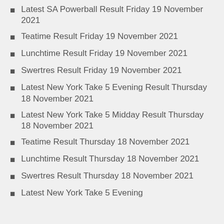Latest SA Powerball Result Friday 19 November 2021
Teatime Result Friday 19 November 2021
Lunchtime Result Friday 19 November 2021
Swertres Result Friday 19 November 2021
Latest New York Take 5 Evening Result Thursday 18 November 2021
Latest New York Take 5 Midday Result Thursday 18 November 2021
Teatime Result Thursday 18 November 2021
Lunchtime Result Thursday 18 November 2021
Swertres Result Thursday 18 November 2021
Latest New York Take 5 Evening